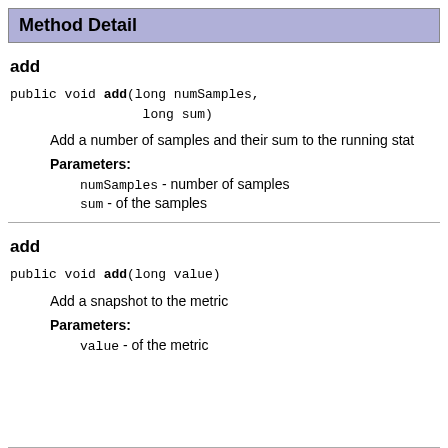Method Detail
add
public void add(long numSamples,
                 long sum)
Add a number of samples and their sum to the running stat
Parameters:
numSamples - number of samples
sum - of the samples
add
public void add(long value)
Add a snapshot to the metric
Parameters:
value - of the metric